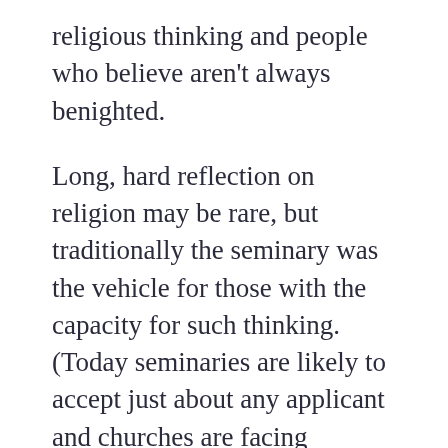religious thinking and people who believe aren't always benighted.
Long, hard reflection on religion may be rare, but traditionally the seminary was the vehicle for those with the capacity for such thinking. (Today seminaries are likely to accept just about any applicant and churches are facing shortages of clergy, making the rigorous thinking an elective